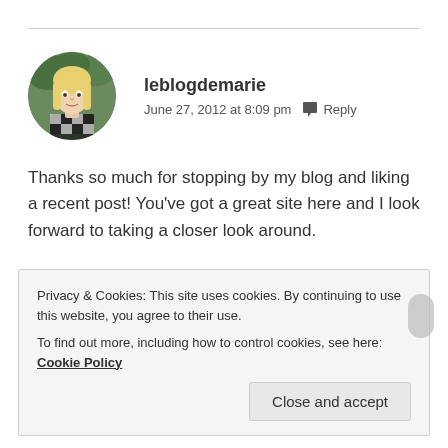[Figure (photo): Circular avatar photo of a blonde woman in a black and white checkered top, outdoors with green background]
leblogdemarie
June 27, 2012 at 8:09 pm   Reply
Thanks so much for stopping by my blog and liking a recent post! You’ve got a great site here and I look forward to taking a closer look around.
★ Like
Privacy & Cookies: This site uses cookies. By continuing to use this website, you agree to their use.
To find out more, including how to control cookies, see here: Cookie Policy
Close and accept